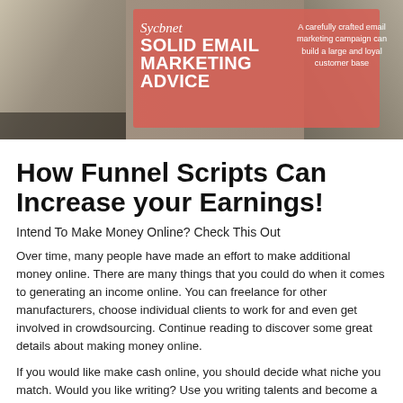[Figure (illustration): Banner image: Sycbnet Solid Email Marketing Advice. Pink/coral overlay with italic script 'Sycbnet' and bold text 'SOLID EMAIL MARKETING ADVICE'. Tagline: 'A carefully crafted email marketing campaign can build a large and loyal customer base'. Background shows hands typing on laptops.]
How Funnel Scripts Can Increase your Earnings!
Intend To Make Money Online? Check This Out
Over time, many people have made an effort to make additional money online. There are many things that you could do when it comes to generating an income online. You can freelance for other manufacturers, choose individual clients to work for and even get involved in crowdsourcing. Continue reading to discover some great details about making money online.
If you would like make cash online, you should decide what niche you match. Would you like writing? Use you writing talents and become a content writer...